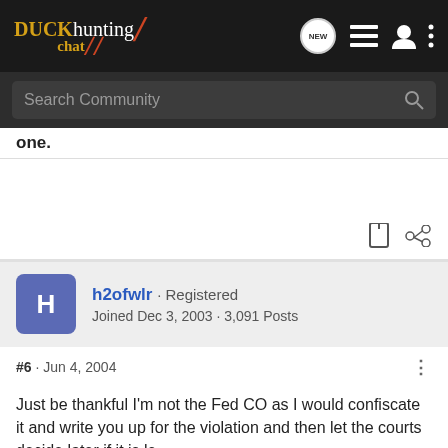Duck hunting chat — navigation bar with logo and icons
Search Community
one.
h2ofwlr · Registered
Joined Dec 3, 2003 · 3,091 Posts
#6 · Jun 4, 2004
Just be thankful I'm not the Fed CO as I would confiscate it and write you up for the violation and then let the courts decide later if it is le
[Figure (screenshot): Springfield Armory advertisement banner showing a pistol on the left and text 'SPRINGFIELD ARMORY. UNLOCK GREATNESS' on dark background]